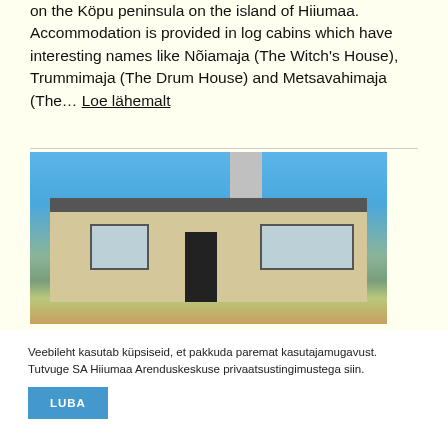on the Köpu peninsula on the island of Hiiumaa. Accommodation is provided in log cabins which have interesting names like Nõiamaja (The Witch's House), Trummimaja (The Drum House) and Metsavahimaja (The… Loe lähemalt
[Figure (photo): Photo of a low modern building with a chimney, large windows, and dark door, set against a blue sky with green surroundings.]
Veebileht kasutab küpsiseid, et pakkuda paremat kasutajamugavust. Tutvuge SA Hiiumaa Arenduskeskuse privaatsustingimustega siin.
LUBA